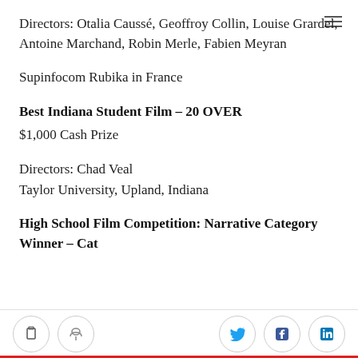Directors: Otalia Caussé, Geoffroy Collin, Louise Grardel, Antoine Marchand, Robin Merle, Fabien Meyran
Supinfocom Rubika in France
Best Indiana Student Film – 20 OVER
$1,000 Cash Prize
Directors: Chad Veal
Taylor University, Upland, Indiana
High School Film Competition: Narrative Category Winner – Cat